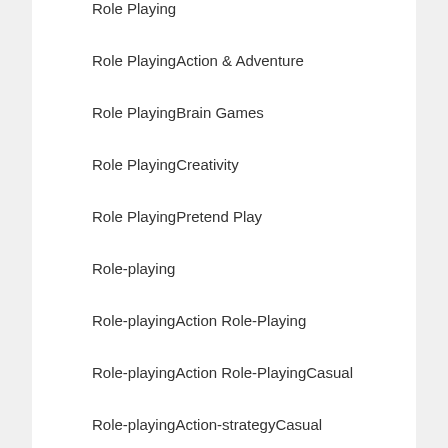Role Playing
Role PlayingAction & Adventure
Role PlayingBrain Games
Role PlayingCreativity
Role PlayingPretend Play
Role-playing
Role-playingAction Role-Playing
Role-playingAction Role-PlayingCasual
Role-playingAction-strategyCasual
Role-playingCasual